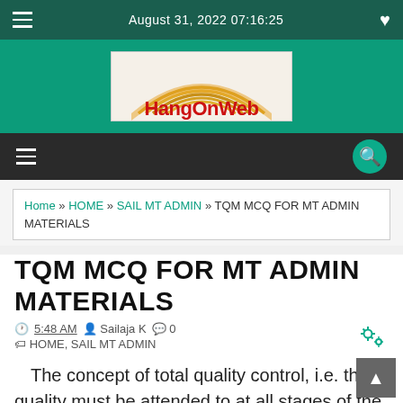August 31, 2022 07:16:25
[Figure (logo): HangOnWeb logo with arc/rainbow design in orange/gold and red text on light background]
Home » HOME » SAIL MT ADMIN » TQM MCQ FOR MT ADMIN MATERIALS
TQM MCQ FOR MT ADMIN MATERIALS
5:48 AM  Sailaja K  0  HOME, SAIL MT ADMIN
The concept of total quality control, i.e. that quality must be attended to at all stages of the industrial cycle and throughout the organization, is the creation of which of the following